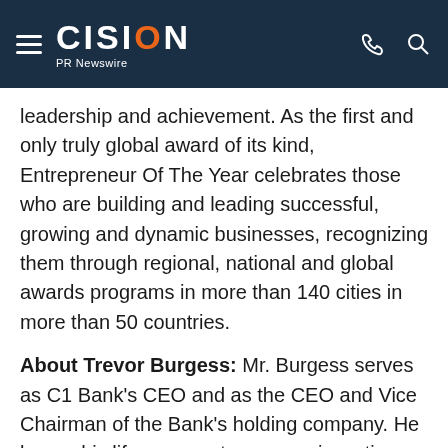CISION PR Newswire
leadership and achievement. As the first and only truly global award of its kind, Entrepreneur Of The Year celebrates those who are building and leading successful, growing and dynamic businesses, recognizing them through regional, national and global awards programs in more than 140 cities in more than 50 countries.
About Trevor Burgess: Mr. Burgess serves as C1 Bank's CEO and as the CEO and Vice Chairman of the Bank's holding company. He began his life as an entrepreneur investing with Marcelo Faria de Lima in 2008. Prior to then, Mr. Burgess was a Managing Director at Morgan Stanley where he was an